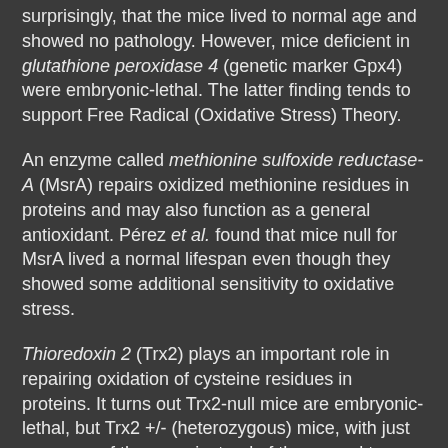surprisingly, that the mice lived to normal age and showed no pathology. However, mice deficient in glutathione peroxidase 4 (genetic marker Gpx4) were embryonic-lethal. The latter finding tends to support Free Radical (Oxidative Stress) Theory.
An enzyme called methionine sulfoxide reductase-A (MsrA) repairs oxidized methionine residues in proteins and may also function as a general antioxidant. Pérez et al. found that mice null for MsrA lived a normal lifespan even though they showed some additional sensitivity to oxidative stress.
Thioredoxin 2 (Trx2) plays an important role in repairing oxidation of cysteine residues in proteins. It turns out Trx2-null mice are embryonic-lethal, but Trx2 +/- (heterozygous) mice, with just one copy of the gene instead of the normal two, had 16% longer maximum lifespan.
There are two major superoxide dismutases that break down superoxides in cells: CuZnSOD and MnSOD (genetic markers SOD1 and SOD2). Pérez et al. found that mice lacking the former suffer a 30% reduction in mean and